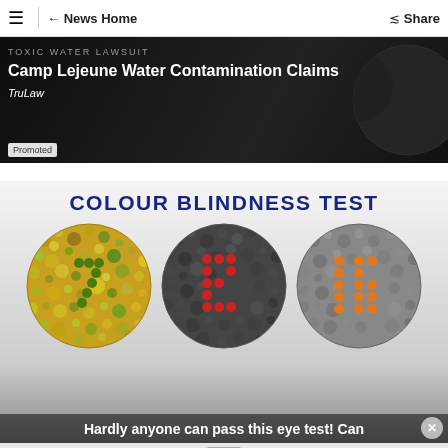≡ | ← News Home   Share
[Figure (screenshot): Sponsored/promoted advertisement for Camp Lejeune Water Contamination Claims by TruLaw, with dark background]
Camp Lejeune Water Contamination Claims
TruLaw
Promoted
[Figure (screenshot): Advertisement for Colour Blindness Test showing three Ishihara plates with coloured dots and numbers, and text 'Hardly anyone can pass this eye test! Can']
COLOUR BLINDNESS TEST
Hardly anyone can pass this eye test! Can
Ad